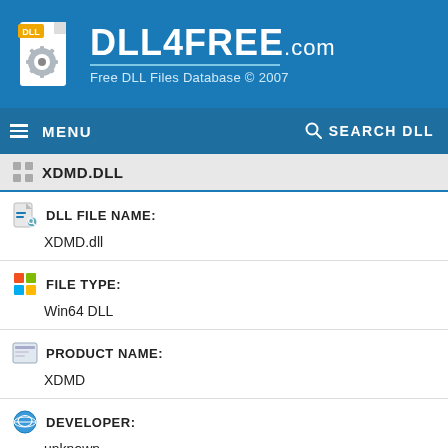[Figure (logo): DLL4FREE.com logo with gear icon and blue background, tagline: Free DLL Files Database © 2007]
≡ MENU   🔍 SEARCH DLL
XDMD.DLL
DLL FILE NAME:
XDMD.dll
FILE TYPE:
Win64 DLL
PRODUCT NAME:
XDMD
DEVELOPER:
unknown
FILE VERSION:
1.1.0.0